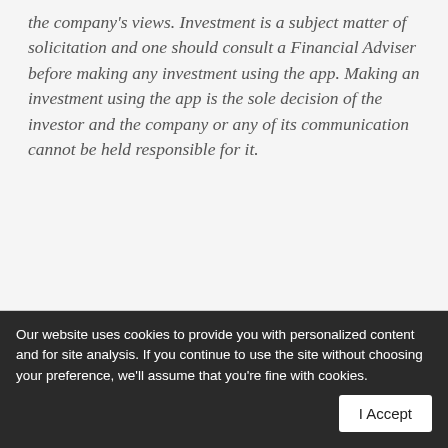the company's views. Investment is a subject matter of solicitation and one should consult a Financial Adviser before making any investment using the app. Making an investment using the app is the sole decision of the investor and the company or any of its communication cannot be held responsible for it.
Our website uses cookies to provide you with personalized content and for site analysis. If you continue to use the site without choosing your preference, we'll assume that you're fine with cookies.